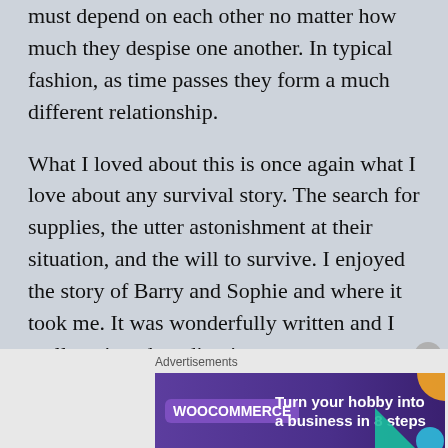must depend on each other no matter how much they despise one another. In typical fashion, as time passes they form a much different relationship.
What I loved about this is once again what I love about any survival story. The search for supplies, the utter astonishment at their situation, and the will to survive. I enjoyed the story of Barry and Sophie and where it took me. It was wonderfully written and I really enjoyed reading it.
If I had one criticism, it would be how
Advertisements
[Figure (other): WooCommerce advertisement banner: 'Turn your hobby into a business in 8 steps' with purple background and geometric shapes]